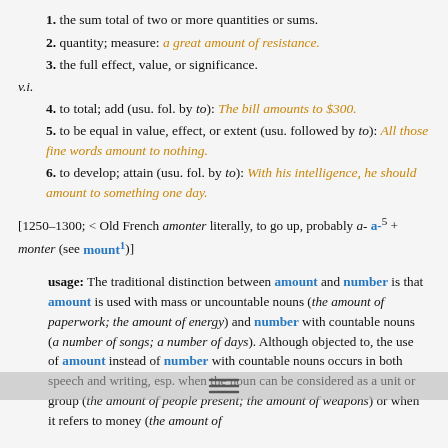1. the sum total of two or more quantities or sums.
2. quantity; measure: a great amount of resistance.
3. the full effect, value, or significance.
v.i.
4. to total; add (usu. fol. by to): The bill amounts to $300.
5. to be equal in value, effect, or extent (usu. followed by to): All those fine words amount to nothing.
6. to develop; attain (usu. fol. by to): With his intelligence, he should amount to something one day.
[1250–1300; < Old French amonter literally, to go up, probably a- a-5 + monter (see mount1)]
usage: The traditional distinction between amount and number is that amount is used with mass or uncountable nouns (the amount of paperwork; the amount of energy) and number with countable nouns (a number of songs; a number of days). Although objected to, the use of amount instead of number with countable nouns occurs in both speech and writing, esp. when the noun can be considered as a unit or group (the amount of people present; the amount of weapons) or when it refers to money (the amount of taxes paid; the amount of pennies in